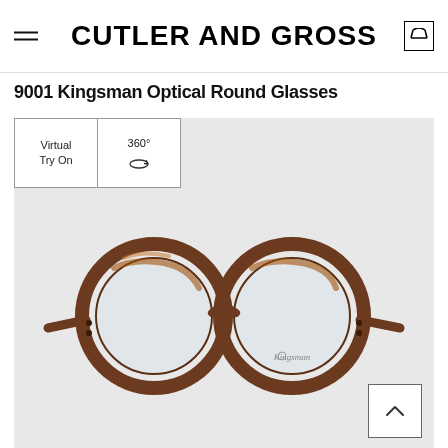CUTLER AND GROSS
9001 Kingsman Optical Round Glasses
[Figure (screenshot): Two interactive buttons: 'Virtual Try On' and '360°' rotation view, overlaid on a product image area]
[Figure (photo): Tortoiseshell round optical glasses (Cutler and Gross 9001 Kingsman) displayed on a light gray background, with 'Kingsman' branding on the right lens]